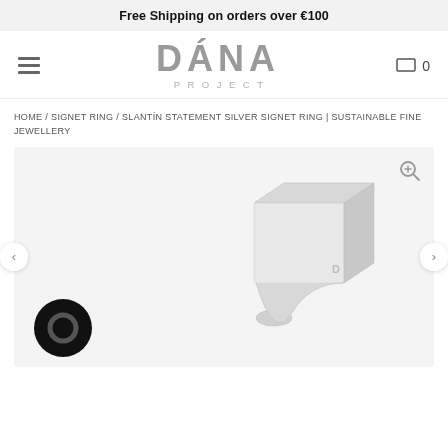Free Shipping on orders over €100
[Figure (logo): DÁNA PROJECT logo in grey text with hamburger menu icon on left and cart icon with 0 on right]
HOME / SIGNET RING / SLANTÍN STATEMENT SILVER SIGNET RING | SUSTAINABLE FINE JEWELLERY
[Figure (photo): Silver square signet ring (Slantín Statement Silver Signet Ring) photographed on light grey background, with a chat widget circle icon on the lower left and zoom icon top right. Navigation arrows on left and right sides.]